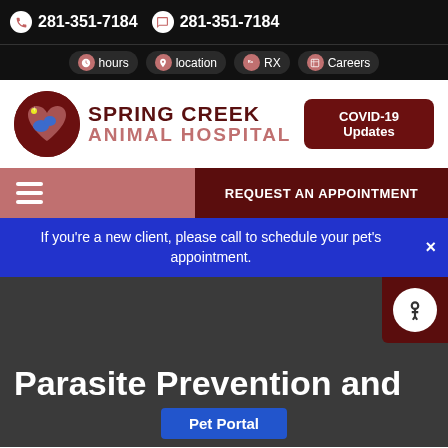281-351-7184  281-351-7184  hours  location  RX  Careers
[Figure (logo): Spring Creek Animal Hospital logo with dark red circle containing heart and animal silhouette icons]
COVID-19 Updates
REQUEST AN APPOINTMENT
If you’re a new client, please call to schedule your pet’s appointment.
Parasite Prevention and
Pet Portal